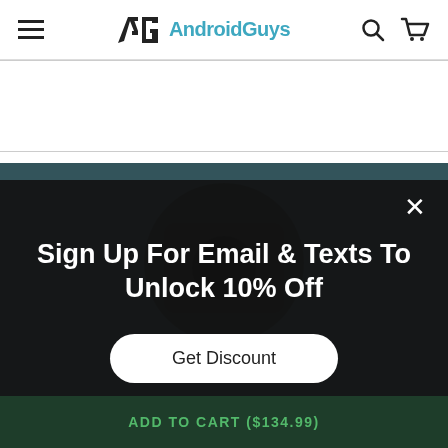AndroidGuys
[Figure (screenshot): AndroidGuys website header with hamburger menu, AG logo, search and cart icons]
[Figure (photo): Product photo on teal/blue background, partially visible behind dark modal overlay]
Sign Up For Email & Texts To Unlock 10% Off
Get Discount
ADD TO CART ($134.99)